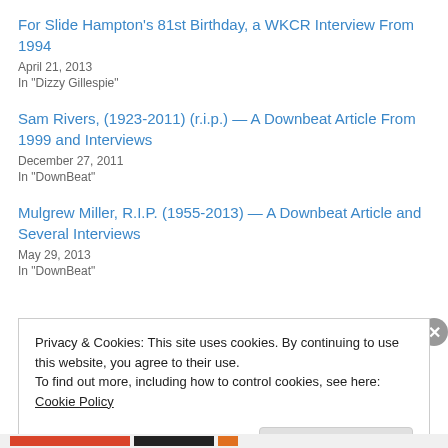For Slide Hampton's 81st Birthday, a WKCR Interview From 1994
April 21, 2013
In "Dizzy Gillespie"
Sam Rivers, (1923-2011) (r.i.p.) — A Downbeat Article From 1999 and Interviews
December 27, 2011
In "DownBeat"
Mulgrew Miller, R.I.P. (1955-2013) — A Downbeat Article and Several Interviews
May 29, 2013
In "DownBeat"
Privacy & Cookies: This site uses cookies. By continuing to use this website, you agree to their use.
To find out more, including how to control cookies, see here: Cookie Policy
Close and accept